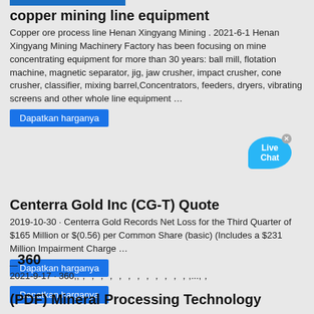copper mining line equipment
Copper ore process line Henan Xingyang Mining . 2021-6-1 Henan Xingyang Mining Machinery Factory has been focusing on mine concentrating equipment for more than 30 years: ball mill, flotation machine, magnetic separator, jig, jaw crusher, impact crusher, cone crusher, classifier, mixing barrel,Concentrators, feeders, dryers, vibrating screens and other whole line equipment …
Dapatkan harganya
Centerra Gold Inc (CG-T) Quote
2019-10-30 · Centerra Gold Records Net Loss for the Third Quarter of $165 Million or $(0.56) per Common Share (basic) (Includes a $231 Million Impairment Charge …
Dapatkan harganya
_360
2021-9-17 · 360,,，，，，，，，，，，，，,...,，
Dapatkan harganya
(PDF) Mineral Processing Technology